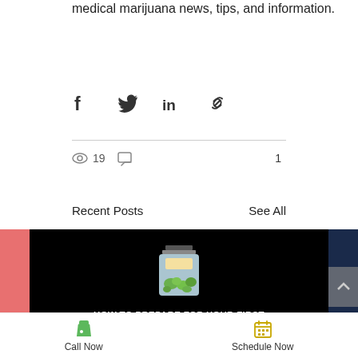medical marijuana news, tips, and information.
[Figure (infographic): Social share icons: Facebook, Twitter, LinkedIn, link/chain]
19 views, 0 comments, 1 like
Recent Posts
See All
[Figure (photo): Card showing a pixel-art jar of cannabis with bold white text: HOW TO PREPARE FOR YOUR FIRST TRIP TO AN ALABAMA MEDICAL MARIJUANA DISPENSARY on a black background]
Call Now
Schedule Now